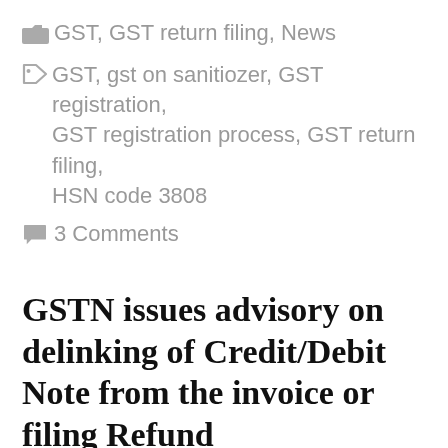GST, GST return filing, News
GST, gst on sanitiozer, GST registration, GST registration process, GST return filing, HSN code 3808
3 Comments
GSTN issues advisory on delinking of Credit/Debit Note from the invoice or filing Refund
September 21, 2020 by Yash Khurmi
Select Language